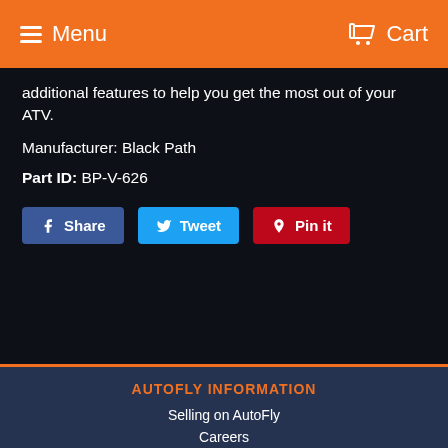Menu   Cart
additional features to help you get the most out of your ATV.
Manufacturer: Black Path
Part ID: BP-V-626
Share  Tweet  Pin it
AUTOFLY INFORMATION
Selling on AutoFly
Careers
SHOP AUTOFLY